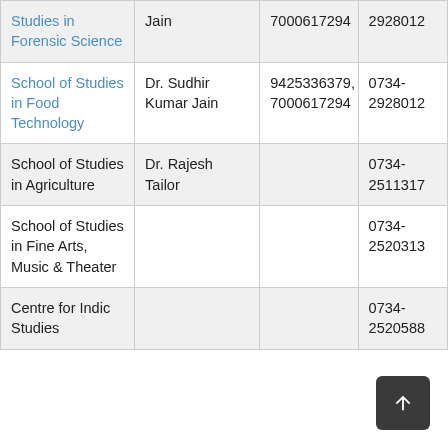| Studies in Forensic Science | Jain | 7000617294 | 2928012 |
| School of Studies in Food Technology | Dr. Sudhir Kumar Jain | 9425336379, 7000617294 | 0734-2928012 |
| School of Studies in Agriculture | Dr. Rajesh Tailor |  | 0734-2511317 |
| School of Studies in Fine Arts, Music & Theater |  |  | 0734-2520313 |
| Centre for Indic Studies |  |  | 0734-2520588 |